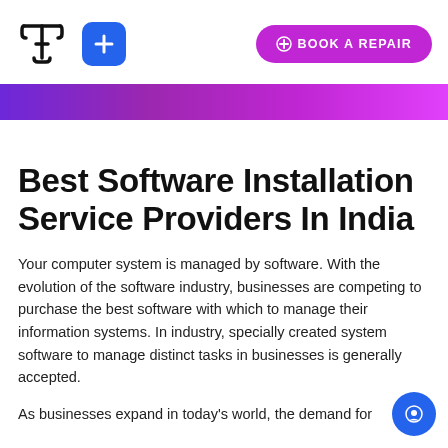[Figure (logo): Techyuga or similar tech brand logo — stylized T-shaped letter with wrench motif in bold outline]
[Figure (other): Blue rounded square button with white plus/cross icon]
[Figure (other): Purple/magenta rounded pill button with plus icon and text BOOK A REPAIR]
[Figure (other): Horizontal gradient bar from purple to magenta/pink spanning full width]
Best Software Installation Service Providers In India
Your computer system is managed by software. With the evolution of the software industry, businesses are competing to purchase the best software with which to manage their information systems. In industry, specially created system software to manage distinct tasks in businesses is generally accepted.
As businesses expand in today’s world, the demand for
[Figure (other): Blue circle chat button at bottom right corner]